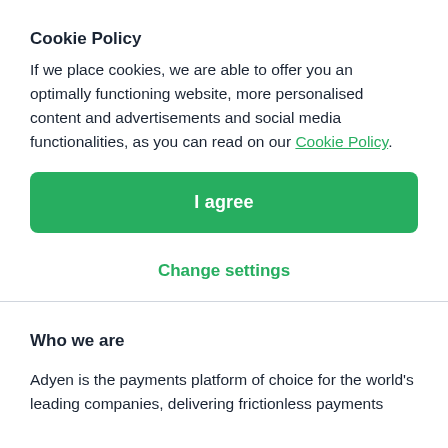Cookie Policy
If we place cookies, we are able to offer you an optimally functioning website, more personalised content and advertisements and social media functionalities, as you can read on our Cookie Policy.
I agree
Change settings
Who we are
Adyen is the payments platform of choice for the world's leading companies, delivering frictionless payments